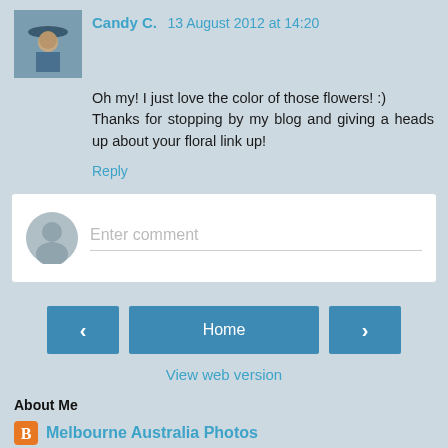[Figure (photo): Small avatar photo of Candy C., person wearing a hat outdoors]
Candy C. 13 August 2012 at 14:20
Oh my! I just love the color of those flowers! :) Thanks for stopping by my blog and giving a heads up about your floral link up!
Reply
[Figure (other): Enter comment form field with generic user avatar icon]
[Figure (other): Navigation buttons: left arrow, Home, right arrow]
View web version
About Me
Melbourne Australia Photos
View my complete profile
Powered by Blogger.